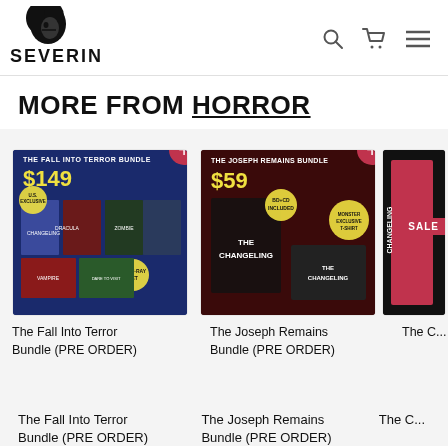[Figure (logo): Severin Films logo — stylized woman silhouette with SEVERIN text below]
[Figure (screenshot): Header navigation icons: search (magnifying glass), cart, hamburger menu]
MORE FROM HORROR
[Figure (photo): The Fall Into Terror Bundle product image showing $149 bundle with Blu-rays]
[Figure (photo): The Joseph Remains Bundle product image showing $59 bundle with The Changeling items]
[Figure (photo): The Changeling Disc product image (partially visible), marked SALE]
The Fall Into Terror Bundle (PRE ORDER)
The Joseph Remains Bundle (PRE ORDER)
The C... Disc...